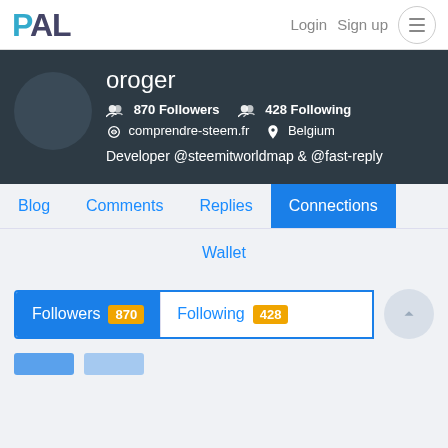PAL  Login  Sign up
oroger
870 Followers  428 Following  comprendre-steem.fr  Belgium  Developer @steemitworldmap & @fast-reply
Blog
Comments
Replies
Connections
Wallet
Followers 870  Following 428